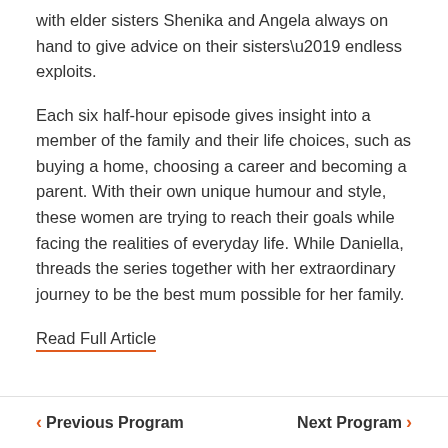with elder sisters Shenika and Angela always on hand to give advice on their sisters’ endless exploits.
Each six half-hour episode gives insight into a member of the family and their life choices, such as buying a home, choosing a career and becoming a parent. With their own unique humour and style, these women are trying to reach their goals while facing the realities of everyday life. While Daniella, threads the series together with her extraordinary journey to be the best mum possible for her family.
Read Full Article
< Previous Program    Next Program >